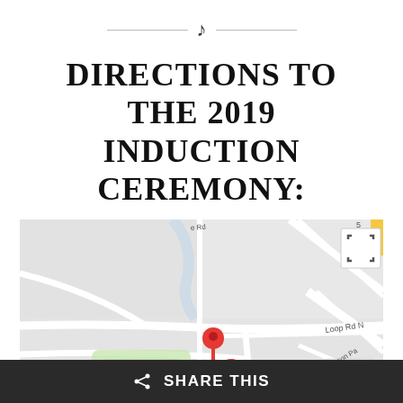[Figure (other): Decorative divider with music note symbol between two horizontal lines]
DIRECTIONS TO THE 2019 INDUCTION CEREMONY:
[Figure (map): Google Maps screenshot showing streets including Loop Rd N, W C St, Main St, Jackson Pa, with two red location pin markers in the center of the map]
SHARE THIS